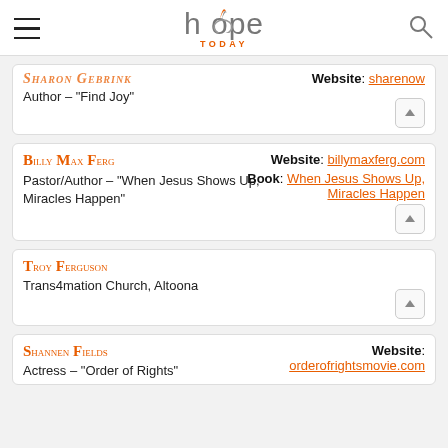hope TODAY
SHARON GEBRINK — Author – "Find Joy" — Website: sharenow
BILLY MAX FERG — Pastor/Author – "When Jesus Shows Up, Miracles Happen" — Website: billymaxferg.com — Book: When Jesus Shows Up, Miracles Happen
TROY FERGUSON — Trans4mation Church, Altoona
SHANNEN FIELDS — Actress – "Order of Rights" — Website: orderofrightsmovie.com